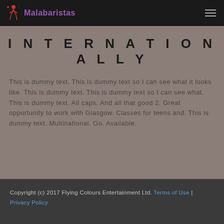Grupo Malabaristas
INTERNATIONALLY
This is dummy text. This is dummy text so I can see what it looks like. This is dummy text. This is dummy text so I can see what. This is dummy text. All caps. And all that good 2. Great opportunity to work with Glasgow. Classes for teens and. This is dummy text. Multinational. Go. Available.
Copyright (c) 2017 Flying Colours Entertainment Ltd. Terms of Use | Privacy Policy